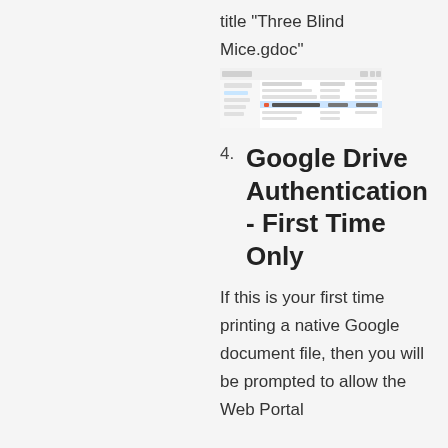title "Three Blind Mice.gdoc"
[Figure (screenshot): Screenshot of a file browser or Google Drive interface showing a list of files including one highlighted in blue, resembling a Google Drive file listing view.]
4. Google Drive Authentication - First Time Only
If this is your first time printing a native Google document file, then you will be prompted to allow the Web Portal